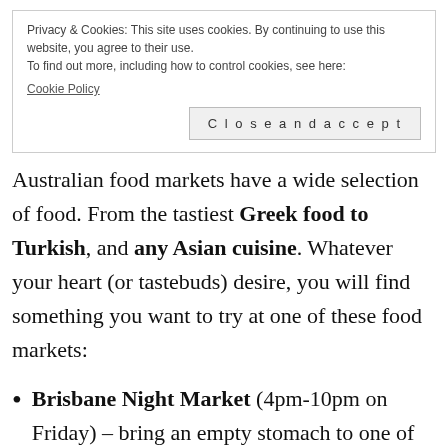Privacy & Cookies: This site uses cookies. By continuing to use this website, you agree to their use. To find out more, including how to control cookies, see here: Cookie Policy
Close and accept
Australian food markets have a wide selection of food. From the tastiest Greek food to Turkish, and any Asian cuisine. Whatever your heart (or tastebuds) desire, you will find something you want to try at one of these food markets:
Brisbane Night Market (4pm-10pm on Friday) – bring an empty stomach to one of the best night markets in Brisb...